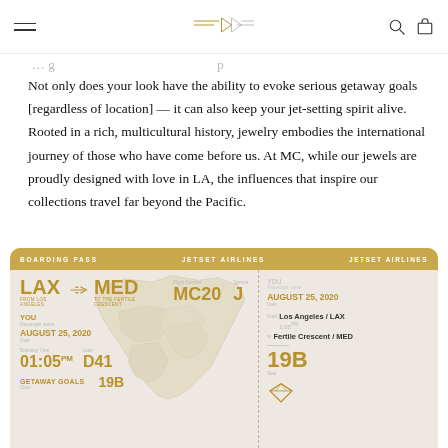Navigation bar with hamburger menu, MC logo, search and cart icons
Not only does your look have the ability to evoke serious getaway goals [regardless of location] — it can also keep your jet-setting spirit alive. Rooted in a rich, multicultural history, jewelry embodies the international journey of those who have come before us. At MC, while our jewels are proudly designed with love in LA, the influences that inspire our collections travel far beyond the Pacific.
[Figure (infographic): Boarding pass graphic for Jetset Airlines. Route: LAX (from Los Angeles) to MED (to the Fertile Crescent). Flight MC20, Class J. Passenger: YOU. Date: AUGUST 25, 2020. Boarding time: 01:05 PM. Gate: D41. Seat: 19B. Class: GETAWAY GOALS. Right stub shows: YOU, AUGUST 25, 2020, from Los Angeles/LAX 1:05, to Fertile Crescent/MED, Seat 19B with diamond icon. Middle shows a map of the Middle East region.]